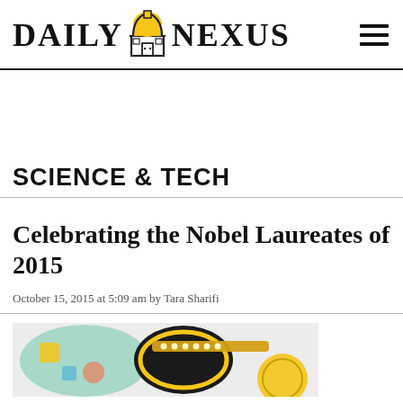DAILY NEXUS
SCIENCE & TECH
Celebrating the Nobel Laureates of 2015
October 15, 2015 at 5:09 am by Tara Sharifi
[Figure (photo): Partial image of what appears to be a Nobel Prize medal or related award imagery with decorative elements]